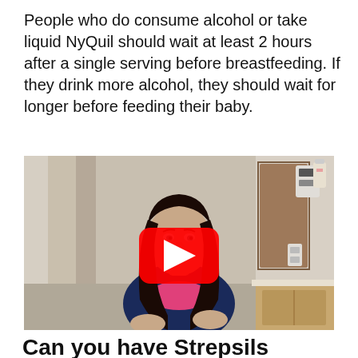People who do consume alcohol or take liquid NyQuil should wait at least 2 hours after a single serving before breastfeeding. If they drink more alcohol, they should wait for longer before feeding their baby.
[Figure (screenshot): Video thumbnail of a woman in a medical setting with a YouTube play button overlay]
Can you have Strepsils when breastfeeding?